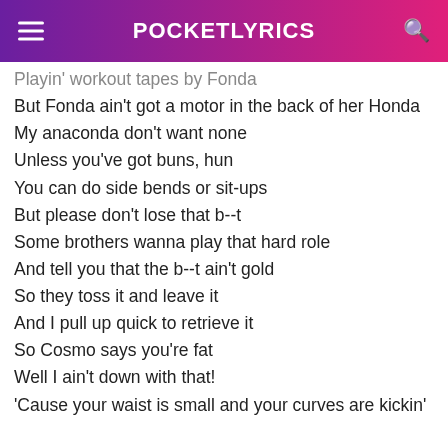POCKETLYRICS
Playin' workout tapes by Fonda
But Fonda ain't got a motor in the back of her Honda
My anaconda don't want none
Unless you've got buns, hun
You can do side bends or sit-ups
But please don't lose that b--t
Some brothers wanna play that hard role
And tell you that the b--t ain't gold
So they toss it and leave it
And I pull up quick to retrieve it
So Cosmo says you're fat
Well I ain't down with that!
'Cause your waist is small and your curves are kickin'